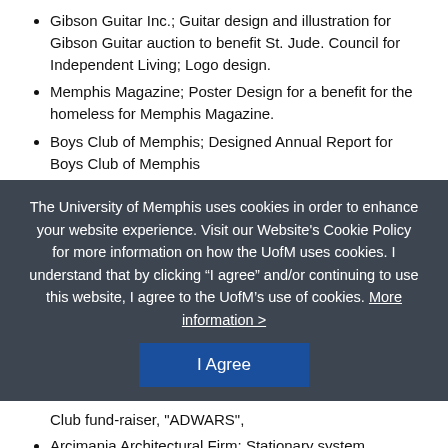Gibson Guitar Inc.; Guitar design and illustration for Gibson Guitar auction to benefit St. Jude. Council for Independent Living; Logo design.
Memphis Magazine; Poster Design for a benefit for the homeless for Memphis Magazine.
Boys Club of Memphis; Designed Annual Report for Boys Club of Memphis
The University of Memphis uses cookies in order to enhance your website experience. Visit our Website's Cookie Policy for more information on how the UofM uses cookies. I understand that by clicking “I agree” and/or continuing to use this website, I agree to the UofM’s use of cookies. More information >
I Agree
Club fund-raiser, "ADWARS",
Arcimania Architectural Firm; Stationary system.
Sherwood Private Retreat; Stationary system for